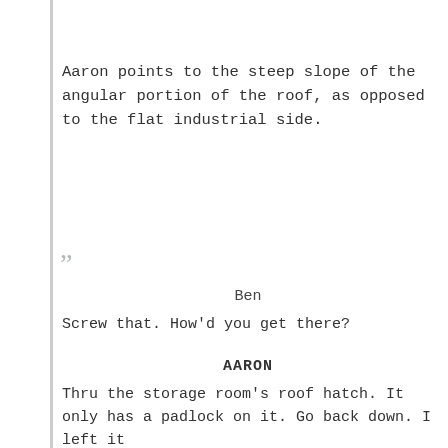Aaron points to the steep slope of the angular portion of the roof, as opposed to the flat industrial side.
Ben
Screw that. How'd you get there?
AARON
Thru the storage room's roof hatch. It only has a padlock on it. Go back down. I left it